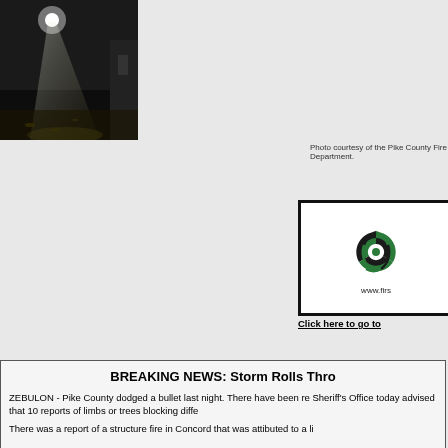[Figure (photo): Nighttime photo showing a bright light beam illuminating a dark scene, likely from emergency or fire department activity. Photo shows ground with debris and structures in background.]
Photo courtesy of the Pike County Fire Department.
[Figure (logo): Logo with green and black woven/interlocked circular design with text www.firs below]
Click here to go to
BREAKING NEWS: Storm Rolls Thro
ZEBULON - Pike County dodged a bullet last night. There have been re Sheriff's Office today advised that 10 reports of limbs or trees blocking diffe
There was a report of a structure fire in Concord that was attributed to a li